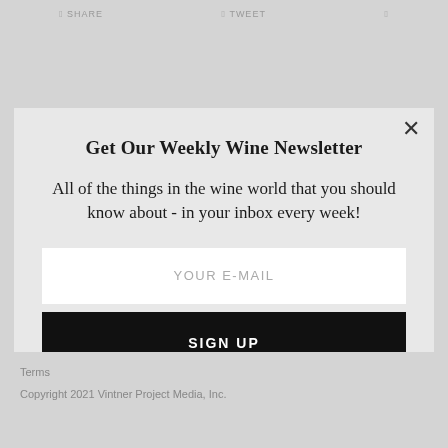SHARE   TWEET
Get Our Weekly Wine Newsletter
All of the things in the wine world that you should know about - in your inbox every week!
YOUR E-MAIL
SIGN UP
Terms
Copyright 2021 Vintner Project Media, Inc.